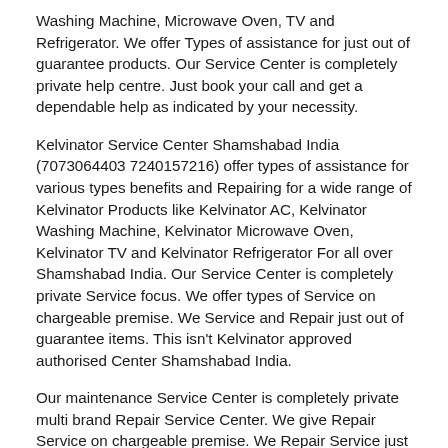Washing Machine, Microwave Oven, TV and Refrigerator. We offer Types of assistance for just out of guarantee products. Our Service Center is completely private help centre. Just book your call and get a dependable help as indicated by your necessity.
Kelvinator Service Center Shamshabad India (7073064403 7240157216) offer types of assistance for various types benefits and Repairing for a wide range of Kelvinator Products like Kelvinator AC, Kelvinator Washing Machine, Kelvinator Microwave Oven, Kelvinator TV and Kelvinator Refrigerator For all over Shamshabad India. Our Service Center is completely private Service focus. We offer types of Service on chargeable premise. We Service and Repair just out of guarantee items. This isn't Kelvinator approved authorised Center Shamshabad India.
Our maintenance Service Center is completely private multi brand Repair Service Center. We give Repair Service on chargeable premise. We Repair Service just for out of guarantee items. We offer best types of trained technician with prepared experts in an exceptionally less time we don't give